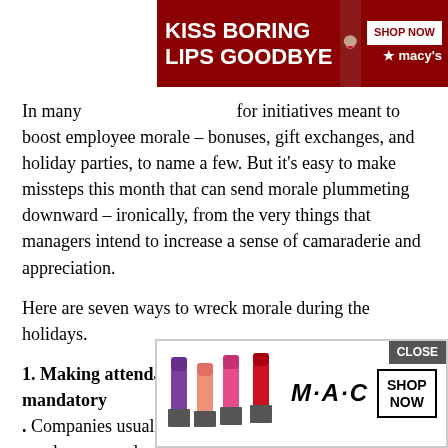[Figure (screenshot): Macy's advertisement banner: dark red background with text 'KISS BORING LIPS GOODBYE' and 'SHOP NOW' button with Macy's star logo, overlaid with a woman's face with red lips]
In many ways, December is a great month for initiatives meant to boost employee morale – bonuses, gift exchanges, and holiday parties, to name a few. But it's easy to make missteps this month that can send morale plummeting downward – ironically, from the very things that managers intend to increase a sense of camaraderie and appreciation.
Here are seven ways to wreck morale during the holidays.
1. Making attendance at the company holiday party mandatory
. Companies usually hold holiday parties to build employee morale—but if you make what should be a fun event mandatory under the guise of giving people a holiday treat, you'll hurt morale, not build it. If the party is meant as a gift, you can't turn it into an obligation, so don't penalize people
[Figure (screenshot): MAC Cosmetics advertisement showing lipsticks in purple, pink, and red with MAC logo and SHOP NOW button. Includes CLOSE button overlay.]